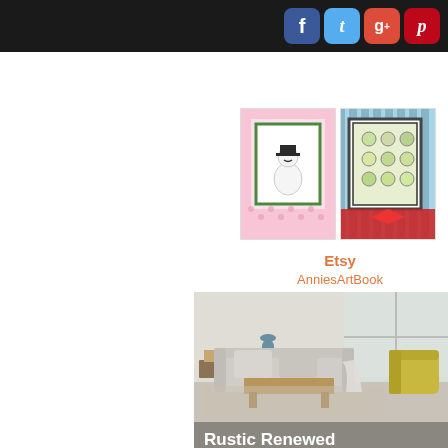Social media icons: Facebook, Twitter, Google+, Pinterest
[Figure (photo): Two craft art book cards with snowman theme displayed side by side]
Etsy
AnniesArtBook
[Figure (photo): Advertisement showing a modern rustic living room with a grey sofa, wooden coffee table, patterned rug, and yellow armchair. Text reads: Rustic Renewed. Comfy, chic, and charming. Discover stand-out styles fit for a modern farmhouse.]